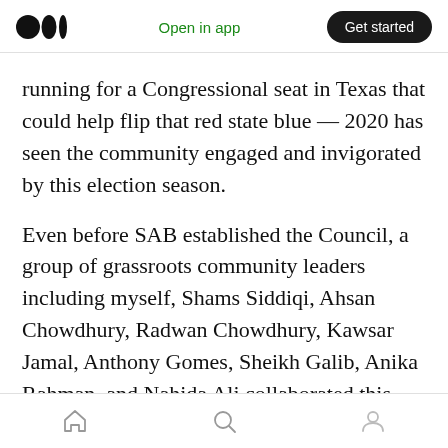Medium logo | Open in app | Get started
running for a Congressional seat in Texas that could help flip that red state blue — 2020 has seen the community engaged and invigorated by this election season.
Even before SAB established the Council, a group of grassroots community leaders including myself, Shams Siddiqi, Ahsan Chowdhury, Radwan Chowdhury, Kawsar Jamal, Anthony Gomes, Sheikh Galib, Anika Rahman, and Nahida Ali collaborated this past summer to create a non-partisan informal nationwide coalition
Home | Search | Profile